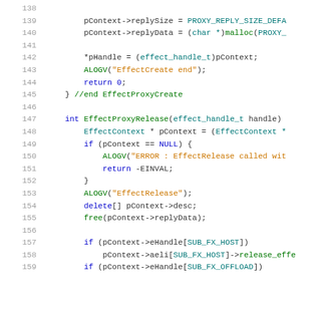[Figure (screenshot): Source code snippet in C++ showing lines 138-159 of a file. Lines show EffectProxyCreate and EffectProxyRelease functions with syntax highlighting (keywords in blue, strings in orange/green, types in teal, comments in green). Code is displayed against a white background with gray line numbers.]